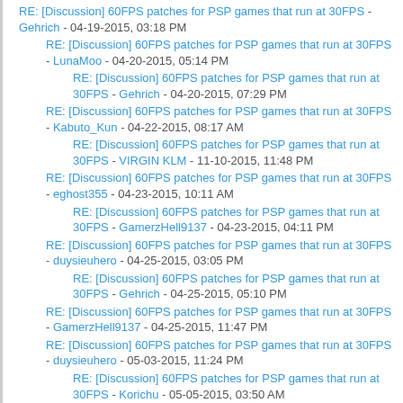RE: [Discussion] 60FPS patches for PSP games that run at 30FPS - Gehrich - 04-19-2015, 03:18 PM
RE: [Discussion] 60FPS patches for PSP games that run at 30FPS - LunaMoo - 04-20-2015, 05:14 PM
RE: [Discussion] 60FPS patches for PSP games that run at 30FPS - Gehrich - 04-20-2015, 07:29 PM
RE: [Discussion] 60FPS patches for PSP games that run at 30FPS - Kabuto_Kun - 04-22-2015, 08:17 AM
RE: [Discussion] 60FPS patches for PSP games that run at 30FPS - VIRGIN KLM - 11-10-2015, 11:48 PM
RE: [Discussion] 60FPS patches for PSP games that run at 30FPS - eghost355 - 04-23-2015, 10:11 AM
RE: [Discussion] 60FPS patches for PSP games that run at 30FPS - GamerzHell9137 - 04-23-2015, 04:11 PM
RE: [Discussion] 60FPS patches for PSP games that run at 30FPS - duysieuhero - 04-25-2015, 03:05 PM
RE: [Discussion] 60FPS patches for PSP games that run at 30FPS - Gehrich - 04-25-2015, 05:10 PM
RE: [Discussion] 60FPS patches for PSP games that run at 30FPS - GamerzHell9137 - 04-25-2015, 11:47 PM
RE: [Discussion] 60FPS patches for PSP games that run at 30FPS - duysieuhero - 05-03-2015, 11:24 PM
RE: [Discussion] 60FPS patches for PSP games that run at 30FPS - Korichu - 05-05-2015, 03:50 AM
RE: [Discussion] 60FPS patches for PSP games that run at 30FPS - duysieuhero - 05-06-2015, 11:49 AM